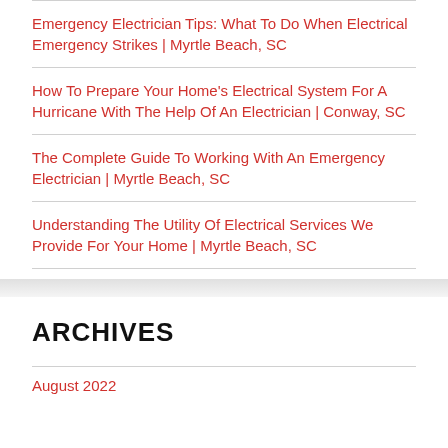Emergency Electrician Tips: What To Do When Electrical Emergency Strikes | Myrtle Beach, SC
How To Prepare Your Home's Electrical System For A Hurricane With The Help Of An Electrician | Conway, SC
The Complete Guide To Working With An Emergency Electrician | Myrtle Beach, SC
Understanding The Utility Of Electrical Services We Provide For Your Home | Myrtle Beach, SC
ARCHIVES
August 2022